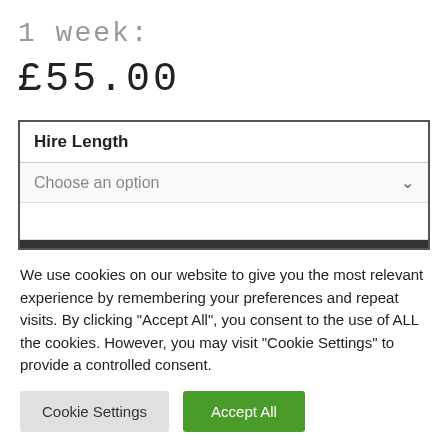1 week:
£55.00
| Hire Length |
| --- |
| Choose an option |
We use cookies on our website to give you the most relevant experience by remembering your preferences and repeat visits. By clicking "Accept All", you consent to the use of ALL the cookies. However, you may visit "Cookie Settings" to provide a controlled consent.
Cookie Settings
Accept All